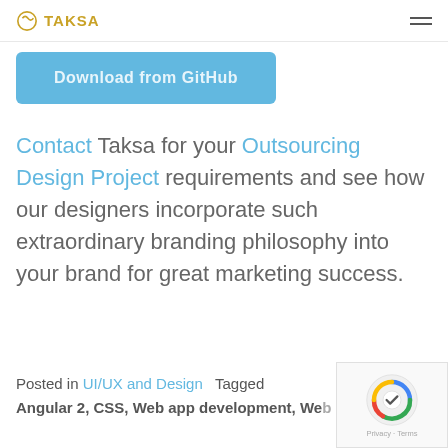TAKSA
[Figure (other): Download from GitHub button (blue rounded rectangle)]
Contact Taksa for your Outsourcing Design Project requirements and see how our designers incorporate such extraordinary branding philosophy into your brand for great marketing success.
Posted in UI/UX and Design   Tagged Angular 2, CSS, Web app development, Web...